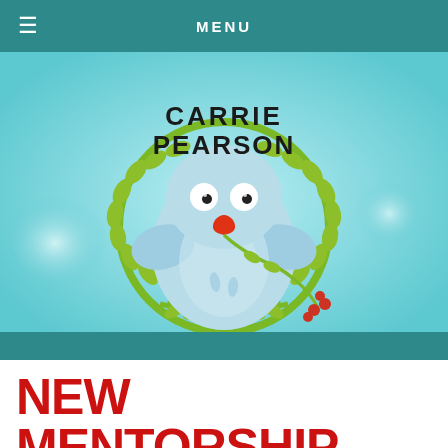≡  MENU
[Figure (illustration): Carrie Pearson blog header illustration: a round light-blue cartoon bird with wide eyes and a red beak holding a leafy branch, surrounded by a green laurel wreath, on a light cyan background. Text 'CARRIE PEARSON' appears above the bird inside the wreath.]
NEW MENTORSHIP MONDAY BLOG